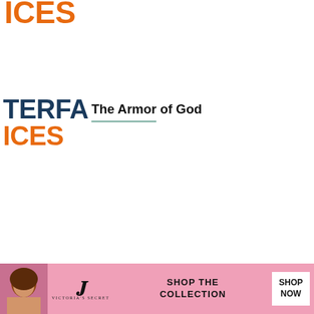[Figure (logo): Partial logo showing ICES in orange at top of page]
[Figure (logo): Partial logo showing TERFA in dark blue and ICES in orange, left column, article 1]
The Armor of God
[Figure (logo): Partial logo showing TERFA in dark blue and ICES in orange, left column, article 2]
All of US: New Campaign Targets Evangelical Christians with Values Message
[Figure (illustration): Partial logo showing REA in dark blue and a chevron, left column, article 3]
Offering Forgiveness: Seeking Justice in Charleston
[Figure (photo): Victoria's Secret advertisement banner with woman photo, VS logo, SHOP THE COLLECTION text, and SHOP NOW button]